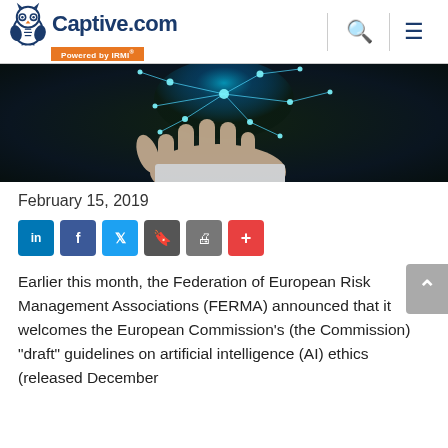Captive.com Powered by IRMI
[Figure (photo): Hand holding glowing blue network/AI connection nodes against dark background]
February 15, 2019
[Figure (infographic): Social sharing buttons: LinkedIn, Facebook, Twitter, Bookmark, Print, More (+)]
Earlier this month, the Federation of European Risk Management Associations (FERMA) announced that it welcomes the European Commission's (the Commission) "draft" guidelines on artificial intelligence (AI) ethics (released December